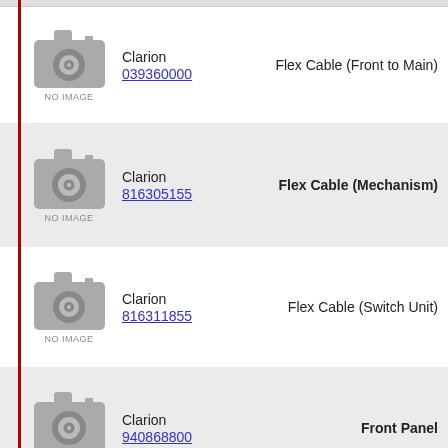Clarion 039360000 Flex Cable (Front to Main)
Clarion 816305155 Flex Cable (Mechanism)
Clarion 816311855 Flex Cable (Switch Unit)
Clarion 940868800 Front Panel